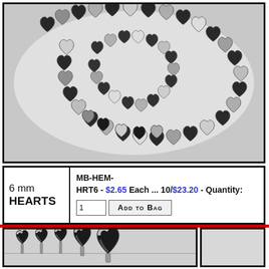[Figure (photo): Black and silver hematite heart-shaped beads on a strand, arranged in a coiled loop on white background]
| 6 mm
HEARTS | MB-HEM-HRT6  -  $2.65 Each ... 10/$23.20  -  Quantity:
1  [Add to Bag] |
[Figure (photo): Close-up of black and silver striped hematite heart-shaped beads on a strand]